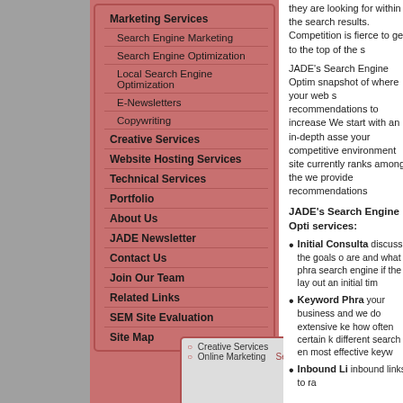Marketing Services
Search Engine Marketing
Search Engine Optimization
Local Search Engine Optimization
E-Newsletters
Copywriting
Creative Services
Website Hosting Services
Technical Services
Portfolio
About Us
JADE Newsletter
Contact Us
Join Our Team
Related Links
SEM Site Evaluation
Site Map
[Figure (photo): Thumbnail image with Creative Services and Online Marketing links, globe/network image on right]
they are looking for within the search results. Competition is fierce to get to the top of the s...
JADE's Search Engine Optim... snapshot of where your web s... recommendations to increase... We start with an in-depth asse... your competitive environment... site currently ranks among the... we provide recommendations...
JADE's Search Engine Opti... services:
Initial Consulta... discuss the goals o... are and what phra... search engine if the... lay out an initial tim...
Keyword Phra... your business and ... we do extensive ke... how often certain k... different search en... most effective keyw...
Inbound Li... inbound links to ra...